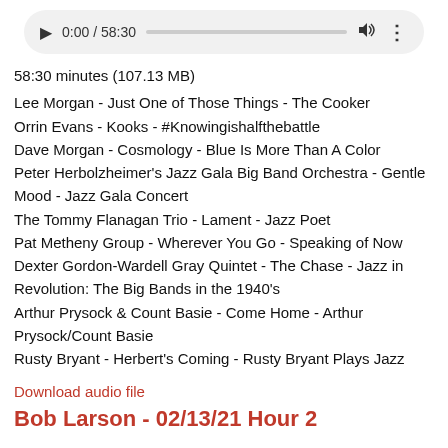[Figure (screenshot): Audio player control bar showing play button, time 0:00 / 58:30, progress bar, volume icon, and more options icon]
58:30 minutes (107.13 MB)
Lee Morgan - Just One of Those Things - The Cooker
Orrin Evans - Kooks - #Knowingishalfthebattle
Dave Morgan - Cosmology - Blue Is More Than A Color
Peter Herbolzheimer's Jazz Gala Big Band Orchestra - Gentle Mood - Jazz Gala Concert
The Tommy Flanagan Trio - Lament - Jazz Poet
Pat Metheny Group - Wherever You Go - Speaking of Now
Dexter Gordon-Wardell Gray Quintet - The Chase - Jazz in Revolution: The Big Bands in the 1940's
Arthur Prysock & Count Basie - Come Home - Arthur Prysock/Count Basie
Rusty Bryant - Herbert's Coming - Rusty Bryant Plays Jazz
Download audio file
Bob Larson - 02/13/21 Hour 2